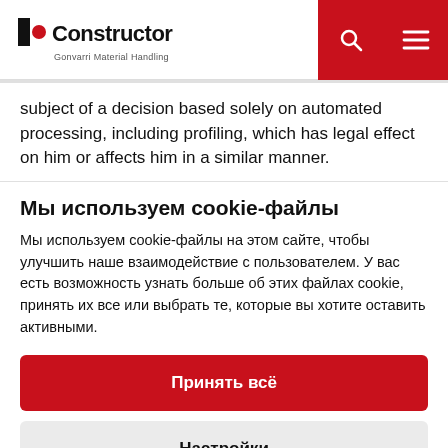Constructor — Gonvarri Material Handling
subject of a decision based solely on automated processing, including profiling, which has legal effect on him or affects him in a similar manner.
Мы используем cookie-файлы
Мы используем cookie-файлы на этом сайте, чтобы улучшить наше взаимодействие с пользователем. У вас есть возможность узнать больше об этих файлах cookie, принять их все или выбрать те, которые вы хотите оставить активными.
Принять всё
Настройки